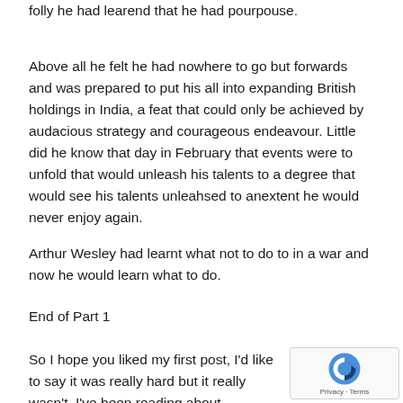folly he had learend that he had pourpouse.
Above all he felt he had nowhere to go but forwards and was prepared to put his all into expanding British holdings in India, a feat that could only be achieved by audacious strategy and courageous endeavour. Little did he know that day in February that events were to unfold that would unleash his talents to a degree that would see his talents unleahsed to anextent he would never enjoy again.
Arthur Wesley had learnt what not to do to in a war and now he would learn what to do.
End of Part 1
So I hope you liked my first post, I'd like to say it was really hard but it really wasn't, I've been reading about